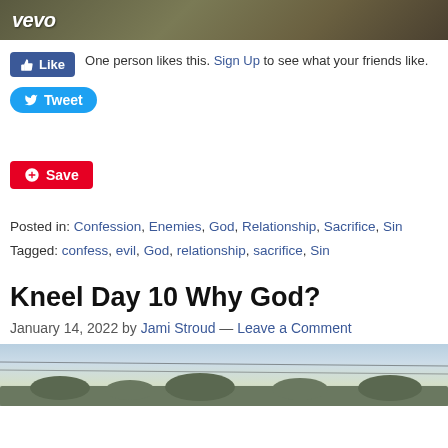[Figure (screenshot): Top portion of a Vevo video thumbnail with brown/olive tones and Vevo logo in white italic text]
One person likes this. Sign Up to see what your friends like.
Tweet
Save
Posted in: Confession, Enemies, God, Relationship, Sacrifice, Sin
Tagged: confess, evil, God, relationship, sacrifice, Sin
Kneel Day 10 Why God?
January 14, 2022 by Jami Stroud — Leave a Comment
[Figure (photo): Bottom partial photo showing power lines and a cloudy sky with trees silhouetted below]